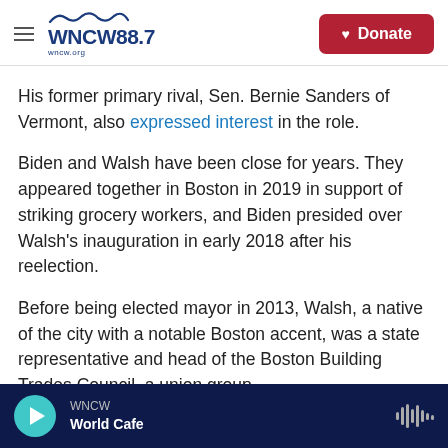WNCW 88.7 | wncw.org | Donate
His former primary rival, Sen. Bernie Sanders of Vermont, also expressed interest in the role.
Biden and Walsh have been close for years. They appeared together in Boston in 2019 in support of striking grocery workers, and Biden presided over Walsh's inauguration in early 2018 after his reelection.
Before being elected mayor in 2013, Walsh, a native of the city with a notable Boston accent, was a state representative and head of the Boston Building Trades Council, a union group.
WNCW | World Cafe